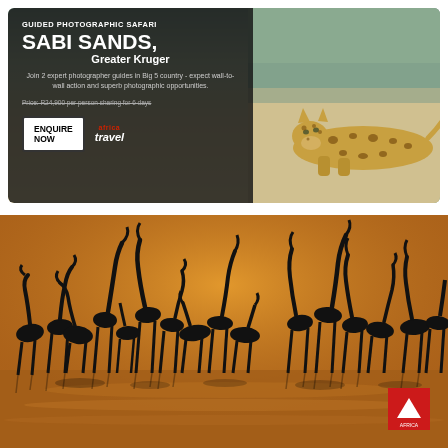[Figure (infographic): Guided Photographic Safari advertisement for Sabi Sands, Greater Kruger. Left panel has dark overlay with white text. Right side shows a leopard resting on sandy ground near water. Features 'ENQUIRE NOW' button and Africa Travel logo.]
[Figure (photo): Silhouettes of flamingos standing in water at golden hour/sunset, with warm orange background and reflections in the water. Africa Travel logo badge in bottom right corner.]